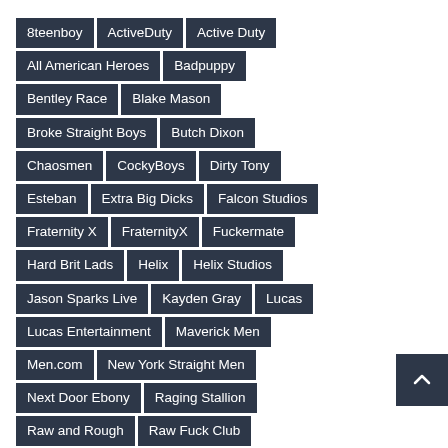8teenboy
ActiveDuty
Active Duty
All American Heroes
Badpuppy
Bentley Race
Blake Mason
Broke Straight Boys
Butch Dixon
Chaosmen
CockyBoys
Dirty Tony
Esteban
Extra Big Dicks
Falcon Studios
Fraternity X
FraternityX
Fuckermate
Hard Brit Lads
Helix
Helix Studios
Jason Sparks Live
Kayden Gray
Lucas
Lucas Entertainment
Maverick Men
Men.com
New York Straight Men
Next Door Ebony
Raging Stallion
Raw and Rough
Raw Fuck Club
Rocco Steele
Sketchy Sex
SpunkWorthy
Staxus
Straight Fraternity
Straight Rent Boys
Suck Off Guys
Tim Kruger
TimSUCK